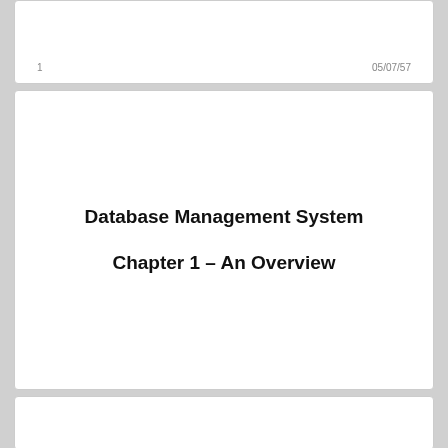1    05/07/57
Database Management System
Chapter 1 – An Overview